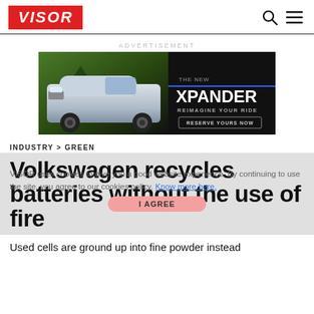VISOR
[Figure (illustration): Advertisement banner for Mitsubishi Xpander crossover vehicle. Dark background with a silver Xpander car on the left, and bold text on the right reading 'THE NEW XPANDER / REIMAGINE YOUR RIDE / RESERVE YOURS NOW']
ADVERTISEMENT
INDUSTRY > GREEN
Volkswagen recycles batteries without the use of fire
VISOR uses cookies to give you a good website experience. By continuing to use the site, you agree to our cookies policy. Know more here.
Used cells are ground up into fine powder instead